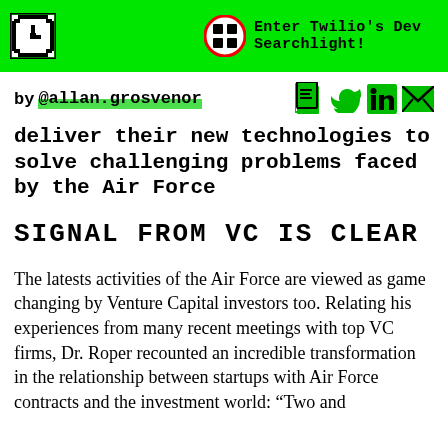Enter Twilio's Dev Searchlight!
by @allan.grosvenor
deliver their new technologies to solve challenging problems faced by the Air Force
SIGNAL FROM VC IS CLEAR
The latests activities of the Air Force are viewed as game changing by Venture Capital investors too. Relating his experiences from many recent meetings with top VC firms, Dr. Roper recounted an incredible transformation in the relationship between startups with Air Force contracts and the investment world: “Two and